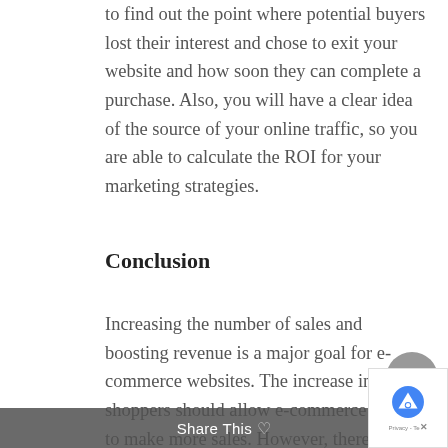to find out the point where potential buyers lost their interest and chose to exit your website and how soon they can complete a purchase. Also, you will have a clear idea of the source of your online traffic, so you are able to calculate the ROI for your marketing strategies.
Conclusion
Increasing the number of sales and boosting revenue is a major goal for e-commerce websites. The increase in online shoppers should allow e-commerce stores to make more sales. However, there are numerous e-commerce businesses, and more are opening up, so the competition is intense. The article shares 15...